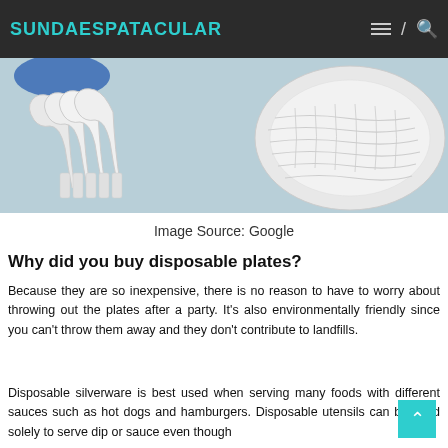SUNDAESPATACULAR
[Figure (photo): Photo of white plastic/disposable spoons and forks stacked together on a light blue background, with a blue round object and a white wicker/woven plate or basket visible.]
Image Source: Google
Why did you buy disposable plates?
Because they are so inexpensive, there is no reason to have to worry about throwing out the plates after a party. It's also environmentally friendly since you can't throw them away and they don't contribute to landfills.
Disposable silverware is best used when serving many foods with different sauces such as hot dogs and hamburgers. Disposable utensils can be used solely to serve dip or sauce even though